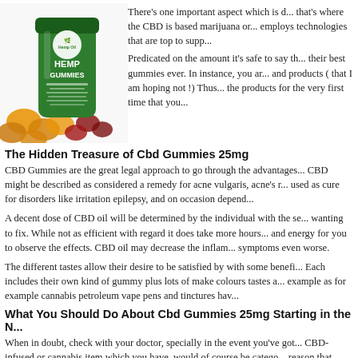[Figure (photo): Product photo of Hemp Gummies jar with hemp leaf logo and scattered gummy candies around it]
There's one important aspect which is d... that's where the CBD is based marijuana or... employs technologies that are top to supp...
Predicated on the amount it's safe to say th... their best gummies ever. In instance, you ar... and products ( that I am hoping not !) Thus... the products for the very first time that you...
The Hidden Treasure of Cbd Gummies 25mg
CBD Gummies are the great legal approach to go through the advantages... CBD might be described as considered a remedy for acne vulgaris, acne's r... used as cure for disorders like irritation epilepsy, and on occasion depend...
A decent dose of CBD oil will be determined by the individual with the se... wanting to fix. While not as efficient with regard it does take more hours... and energy for you to observe the effects. CBD oil may decrease the inflam... symptoms even worse.
The different tastes allow their desire to be satisfied by with some benefi... Each includes their own kind of gummy plus lots of make colours tastes a... example as for example cannabis petroleum vape pens and tinctures hav...
What You Should Do About Cbd Gummies 25mg Starting in the N...
When in doubt, check with your doctor, specially in the event you've got... CBD-infused or cannabis item which you have, would of course be catego... reason that CBD is this kind of type of aid for individual health can be a m... program of the body.